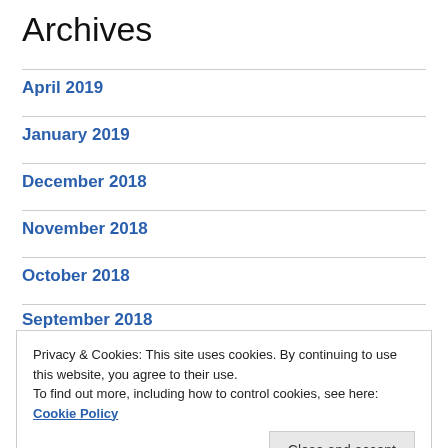Archives
April 2019
January 2019
December 2018
November 2018
October 2018
September 2018
Privacy & Cookies: This site uses cookies. By continuing to use this website, you agree to their use.
To find out more, including how to control cookies, see here: Cookie Policy
May 2018